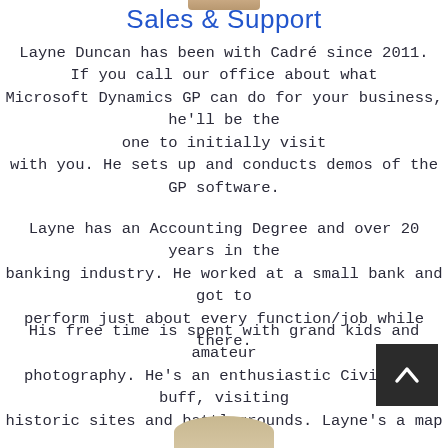[Figure (photo): Partial photo of a person at the top of the page]
Sales & Support
Layne Duncan has been with Cadré since 2011. If you call our office about what Microsoft Dynamics GP can do for your business, he'll be the one to initially visit with you. He sets up and conducts demos of the GP software.
Layne has an Accounting Degree and over 20 years in the banking industry. He worked at a small bank and got to perform just about every function/job while there.
His free time is spent with grand kids and amateur photography. He's an enthusiastic Civil War buff, visiting historic sites and battlegrounds. Layne's a map enthusiast and has a great collection displayed in his office.
[Figure (photo): Partial photo of another person at the bottom of the page]